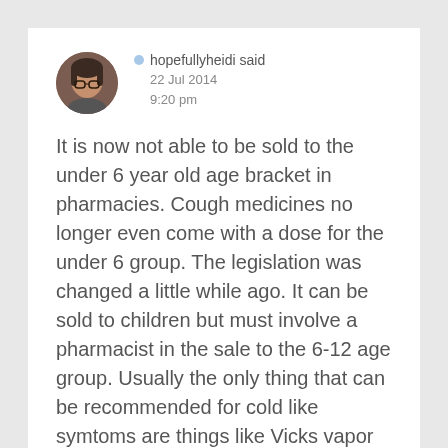[Figure (photo): Round avatar photo of a person with glasses, brownish tones]
hopefullyheidi said
22 Jul 2014
9:20 pm
It is now not able to be sold to the under 6 year old age bracket in pharmacies. Cough medicines no longer even come with a dose for the under 6 group. The legislation was changed a little while ago. It can be sold to children but must involve a pharmacist in the sale to the 6-12 age group. Usually the only thing that can be recommended for cold like symtoms are things like Vicks vapor rub and things of that nature now. You can use the face in gel sprays for infants with the